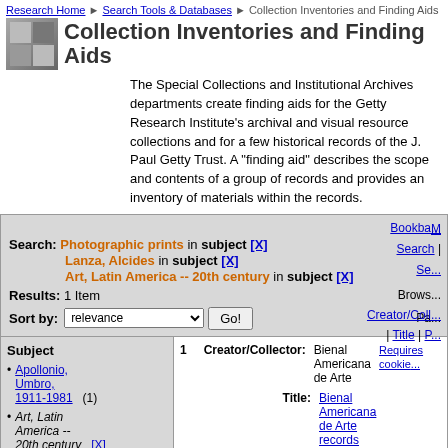Research Home > Search Tools & Databases > Collection Inventories and Finding Aids
Collection Inventories and Finding Aids
The Special Collections and Institutional Archives departments create finding aids for the Getty Research Institute's archival and visual resource collections and for a few historical records of the J. Paul Getty Trust. A "finding aid" describes the scope and contents of a group of records and provides an inventory of materials within the records.
Search: Photographic prints in subject [X] Lanza, Alcides in subject [X] Art, Latin America -- 20th century in subject [X]
Results: 1 Item
Sort by: relevance Go!
Subject
Apollonio, Umbro, 1911-1981 (1)
Art, Latin America -- 20th century [X]
Avant-garde (1)
1 Creator/Collector: Bienal Americana de Arte   Title: Bienal Americana de Arte records